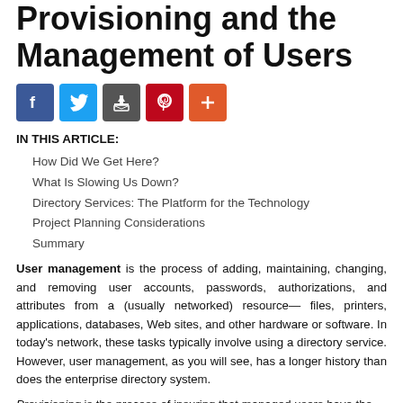Provisioning and the Management of Users
[Figure (infographic): Social media sharing icons: Facebook (blue), Twitter (light blue), Email/share (dark gray), Pinterest (red), Add/More (orange-red)]
IN THIS ARTICLE:
How Did We Get Here?
What Is Slowing Us Down?
Directory Services: The Platform for the Technology
Project Planning Considerations
Summary
User management is the process of adding, maintaining, changing, and removing user accounts, passwords, authorizations, and attributes from a (usually networked) resource— files, printers, applications, databases, Web sites, and other hardware or software. In today's network, these tasks typically involve using a directory service. However, user management, as you will see, has a longer history than does the enterprise directory system.
Provisioning is the process of insuring that managed users have the capabilities from the assigned...